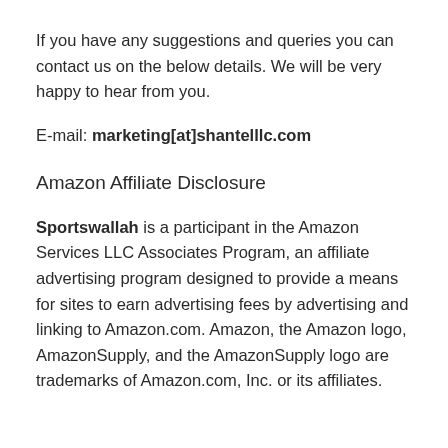If you have any suggestions and queries you can contact us on the below details. We will be very happy to hear from you.
E-mail: marketing[at]shantelllc.com
Amazon Affiliate Disclosure
Sportswallah is a participant in the Amazon Services LLC Associates Program, an affiliate advertising program designed to provide a means for sites to earn advertising fees by advertising and linking to Amazon.com. Amazon, the Amazon logo, AmazonSupply, and the AmazonSupply logo are trademarks of Amazon.com, Inc. or its affiliates.